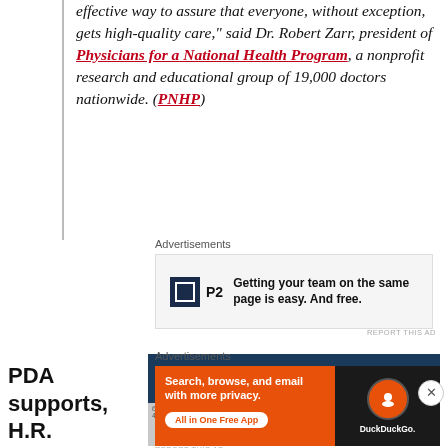effective way to assure that everyone, without exception, gets high-quality care," said Dr. Robert Zarr, president of Physicians for a National Health Program, a nonprofit research and educational group of 19,000 doctors nationwide. (PNHP)
Advertisements
[Figure (screenshot): P2 advertisement: Getting your team on the same page is easy. And free.]
PDA supports, H.R.
[Figure (screenshot): Chart showing emissions data over 20 years with overlay text: Over the last 20 years, total emissions of the six principal air pollutants have decreased by more than 41 percent, while the Gross Domestic Product has increased by more than 64 percent.]
Advertisements
[Figure (screenshot): DuckDuckGo advertisement: Search, browse, and email with more privacy. All in One Free App. DuckDuckGo.]